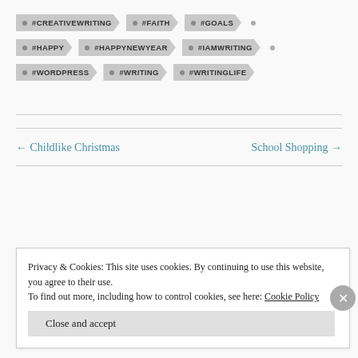#CREATIVEWRITING
#FAITH
#GOALS
#HAPPY
#HAPPYNEWYEAR
#IAMWRITING
#WORDPRESS
#WRITING
#WRITINGLIFE
← Childlike Christmas
School Shopping →
Privacy & Cookies: This site uses cookies. By continuing to use this website, you agree to their use.
To find out more, including how to control cookies, see here: Cookie Policy
Close and accept